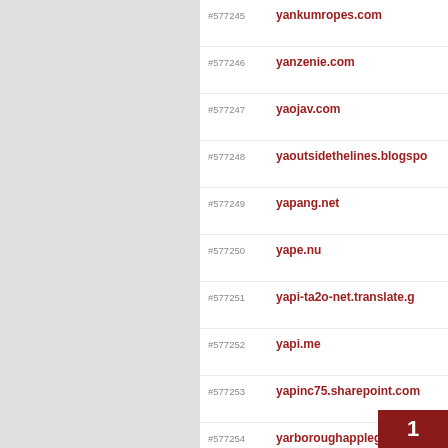#577245 yankumropes.com
#577246 yanzenie.com
#577247 yaojav.com
#577248 yaoutsidethelines.blogspo
#577249 yapang.net
#577250 yape.nu
#577251 yapi-ta2o-net.translate.g
#577252 yapi.me
#577253 yapinc75.sharepoint.com
#577254 yarboroughapplegate.com
#577255 yardblogger.com
#577256 yardcardtoppers.com
1